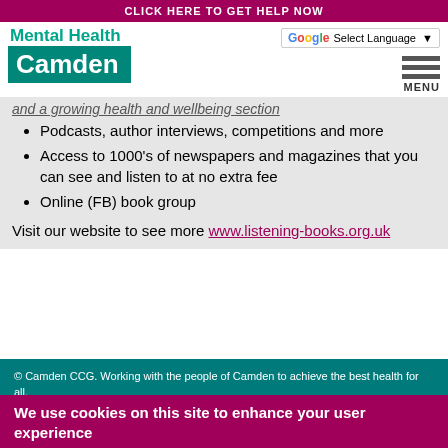CLICK HERE TO GET HELP NOW
[Figure (logo): Mental Health Camden logo with teal text and teal background block]
Podcasts, author interviews, competitions and more
Access to 1000's of newspapers and magazines that you can see and listen to at no extra fee
Online (FB) book group
Visit our website to see more www.listening-books.org.uk
© Camden CCG. Working with the people of Camden to achieve the best health for all.
We use cookies on this site to enhance your user experience